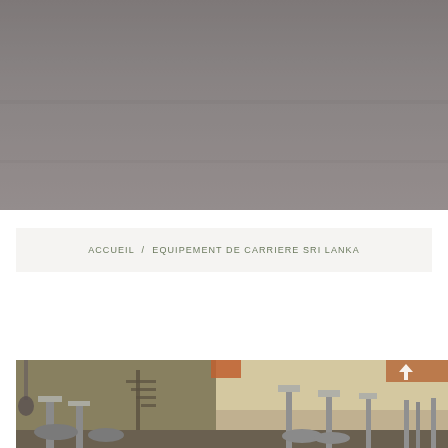[Figure (photo): Large grey hero image, appears to be an industrial or workshop interior, desaturated/darkened]
ACCUEIL / EQUIPEMENT DE CARRIERE SRI LANKA
[Figure (photo): Industrial workshop interior showing heavy metal equipment, cylindrical containers or silos on stands, with a crane hook visible on the left and metal stairs in the background]